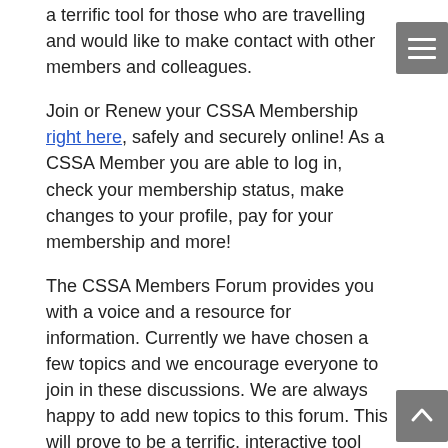a terrific tool for those who are travelling and would like to make contact with other members and colleagues.
Join or Renew your CSSA Membership right here, safely and securely online! As a CSSA Member you are able to log in, check your membership status, make changes to your profile, pay for your membership and more!
The CSSA Members Forum provides you with a voice and a resource for information. Currently we have chosen a few topics and we encourage everyone to join in these discussions. We are always happy to add new topics to this forum. This will prove to be a terrific, interactive tool that we hope all will participate in.
Enjoy browsing and feel free to contact me anytime,
Sue Margeson,